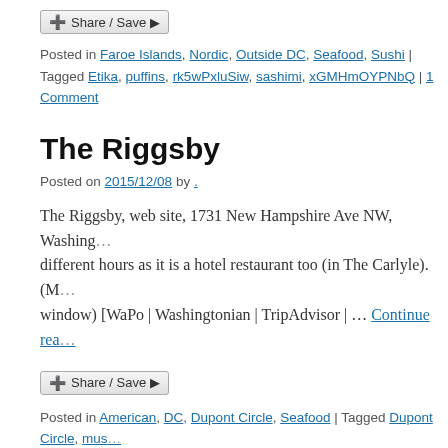[Figure (other): Share/Save button widget]
Posted in Faroe Islands, Nordic, Outside DC, Seafood, Sushi | Tagged Etika, puffins, rk5wPxluSiw, sashimi, xGMHmOYPNbQ | 1 Comment
The Riggsby
Posted on 2015/12/08 by .
The Riggsby, web site, 1731 New Hampshire Ave NW, Washing... different hours as it is a hotel restaurant too (in The Carlyle). (M... window) [WaPo | Washingtonian | TripAdvisor | … Continue rea...
[Figure (other): Share/Save button widget]
Posted in American, DC, Dupont Circle, Seafood | Tagged Dupont Circle, mus... The Riggsby | Comments Off
Fiola Mare